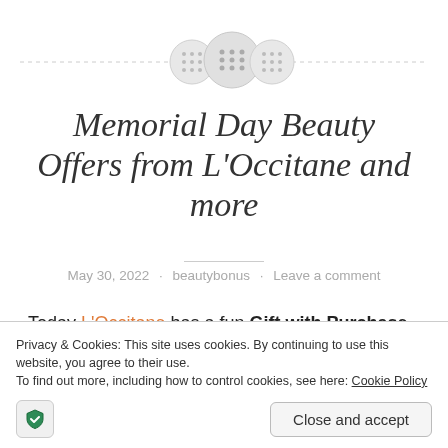[Figure (illustration): Decorative header with three circular button/wheel icons centered on a dashed horizontal line]
Memorial Day Beauty Offers from L'Occitane and more
May 30, 2022 · beautybonus · Leave a comment
Today L'Occitane has a fun Gift with Purchase and it is only valid today! Today only with any $95 purchase you
Privacy & Cookies: This site uses cookies. By continuing to use this website, you agree to their use.
To find out more, including how to control cookies, see here: Cookie Policy
Close and accept